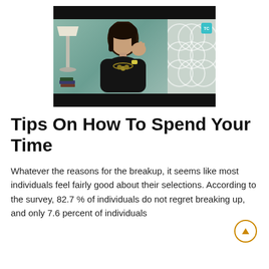[Figure (photo): Video thumbnail showing a woman with dark hair wearing a black top and necklace with hand raised to face, seated in front of a decorative wall with a lamp visible. Black bars at top and bottom. TC logo badge in top right corner.]
Tips On How To Spend Your Time
Whatever the reasons for the breakup, it seems like most individuals feel fairly good about their selections. According to the survey, 82.7 % of individuals do not regret breaking up, and only 7.6 percent of individuals